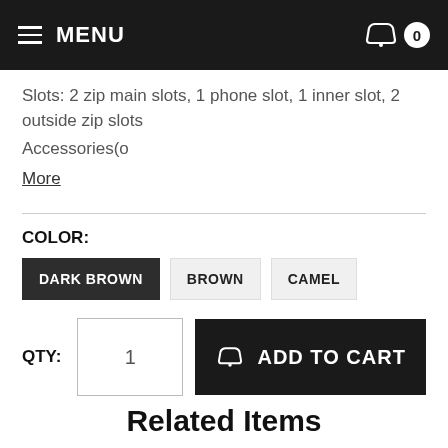MENU  0
Slots: 2 zip main slots, 1 phone slot, 1 inner slot, 2 outside zip slots
Accessories(o
More
COLOR:
DARK BROWN  BROWN  CAMEL
QTY: 1  ADD TO CART
Related Items